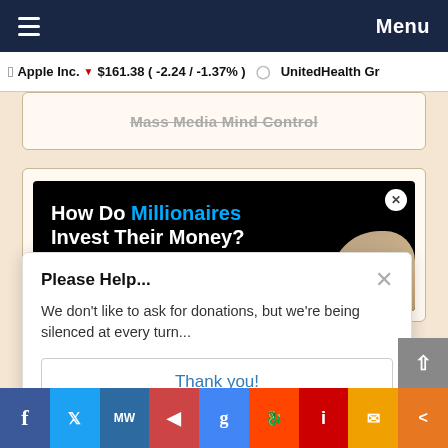Menu
Apple Inc. $161.38 (-2.24 / -1.37%) UnitedHealth Gr
Mass Media Mind Control
[Figure (screenshot): Ad banner: How Do Millionaires Invest Their Money? Get the gold IRA guide.]
Please Help...
We don't like to ask for donations, but we're being silenced at every turn...
Thank you!
f (Facebook) Twitter MW P g Reddit i email share